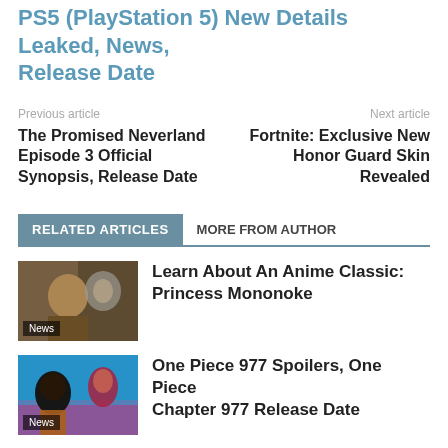PS5 (PlayStation 5) New Details Leaked, News, Release Date
Previous article
Next article
The Promised Neverland Episode 3 Official Synopsis, Release Date
Fortnite: Exclusive New Honor Guard Skin Revealed
RELATED ARTICLES
MORE FROM AUTHOR
[Figure (photo): Anime image related to Princess Mononoke]
Learn About An Anime Classic: Princess Mononoke
[Figure (photo): Anime image related to One Piece 977]
One Piece 977 Spoilers, One Piece Chapter 977 Release Date